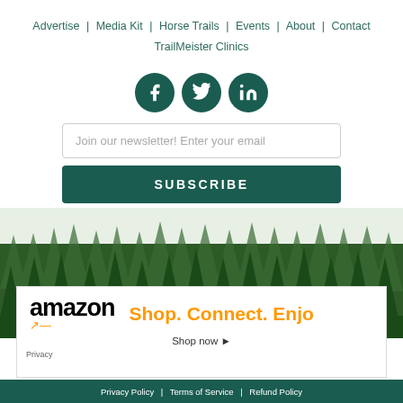Advertise | Media Kit | Horse Trails | Events | About | Contact | TrailMeister Clinics
[Figure (illustration): Three circular dark teal social media icons: Facebook (f), Twitter (bird), LinkedIn (in)]
Join our newsletter! Enter your email
SUBSCRIBE
[Figure (illustration): Dark green forest treeline silhouette background with pine/fir trees]
[Figure (advertisement): Amazon advertisement banner: amazon logo with orange arrow smile, text 'Shop. Connect. Enjoy.' in orange, 'Shop now ▸' below, Privacy label in bottom left]
Privacy Policy | Terms of Service | Refund Policy